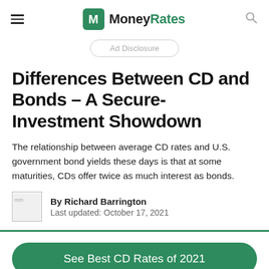MoneyRates
Ad Disclosure
Differences Between CD and Bonds – A Secure-Investment Showdown
The relationship between average CD rates and U.S. government bond yields these days is that at some maturities, CDs offer twice as much interest as bonds.
By Richard Barrington
Last updated: October 17, 2021
See Best CD Rates of 2021